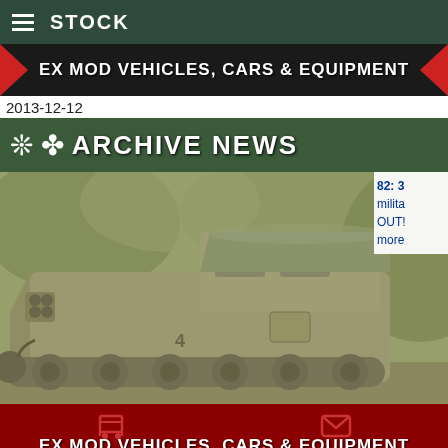STOCK
EX MOD VEHICLES, CARS & EQUIPMENT
2013-12-12
ARCHIVE NEWS
[Figure (photo): Military tracked armored personnel carrier / artillery vehicle in olive drab, photographed outdoors with foliage in background. Green-tinted black and white photo.]
82: 3
milita
OUT!
more
EX MOD VEHICLES, CARS & EQUIPMENT
2013-12-02